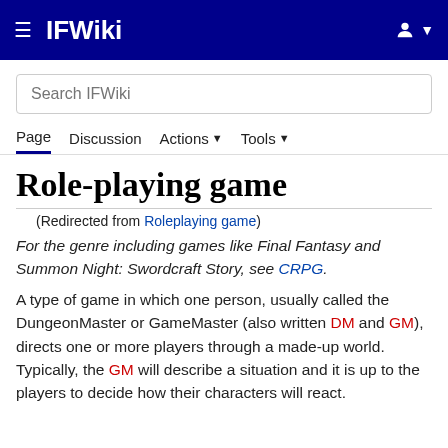IFWiki
Role-playing game
(Redirected from Roleplaying game)
For the genre including games like Final Fantasy and Summon Night: Swordcraft Story, see CRPG.
A type of game in which one person, usually called the DungeonMaster or GameMaster (also written DM and GM), directs one or more players through a made-up world. Typically, the GM will describe a situation and it is up to the players to decide how their characters will react.